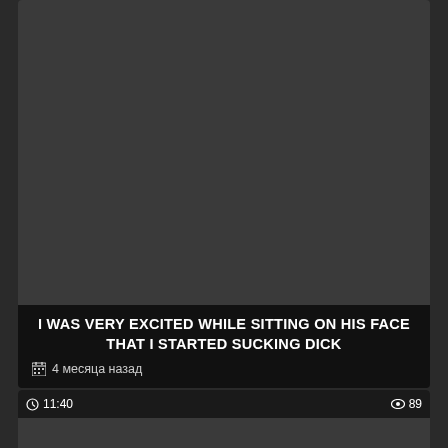[Figure (screenshot): Dark grey thumbnail area for video card]
I WAS VERY EXCITED WHILE SITTING ON HIS FACE THAT I STARTED SUCKING DICK
4 месяца назад
[Figure (screenshot): Second video card thumbnail with time 11:40 and view count 89]